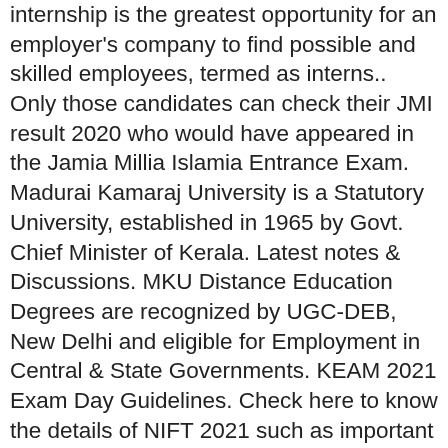internship is the greatest opportunity for an employer's company to find possible and skilled employees, termed as interns.. Only those candidates can check their JMI result 2020 who would have appeared in the Jamia Millia Islamia Entrance Exam. Madurai Kamaraj University is a Statutory University, established in 1965 by Govt. Chief Minister of Kerala. Latest notes & Discussions. MKU Distance Education Degrees are recognized by UGC-DEB, New Delhi and eligible for Employment in Central & State Governments. KEAM 2021 Exam Day Guidelines. Check here to know the details of NIFT 2021 such as important dates, eligibility criteria, application form, exam pattern. Admission + Examination form for BCA 2ND & 3RD YEAR has been Started. The list of institutes mentioned above offers a range of best engineering courses with excellent career prospects and job outputs. Moving on, IGNOU requires students to fill in the exam forms for appearing in the Term End Exams (TEE) twice a year. Uniraj Exam Form